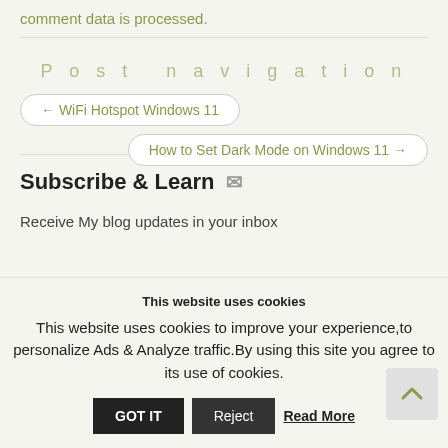comment data is processed.
Post navigation
← WiFi Hotspot Windows 11
How to Set Dark Mode on Windows 11 →
Subscribe & Learn
Receive My blog updates in your inbox
This website uses cookies
This website uses cookies to improve your experience,to personalize Ads & Analyze traffic.By using this site you agree to its use of cookies.
GOT IT
Reject
Read More